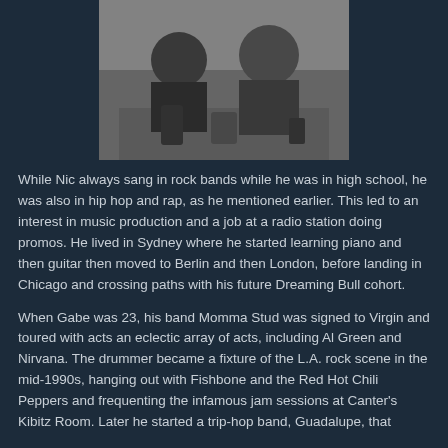[Figure (photo): Black and white photograph of two people sitting at a table with drinks, indoors.]
While Nic always sang in rock bands while he was in high school, he was also in hip hop and rap, as he mentioned earlier. This led to an interest in music production and a job at a radio station doing promos. He lived in Sydney where he started learning piano and then guitar then moved to Berlin and then London, before landing in Chicago and crossing paths with his future Dreaming Bull cohort.
When Gabe was 23, his band Momma Stud was signed to Virgin and toured with acts an eclectic array of acts, including Al Green and Nirvana. The drummer became a fixture of the L.A. rock scene in the mid-1990s, hanging out with Fishbone and the Red Hot Chili Peppers and frequenting the infamous jam sessions at Canter's Kibitz Room. Later he started a trip-hop band, Guadalupe, that